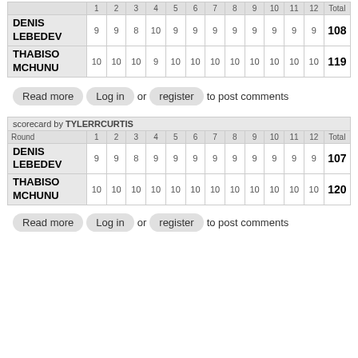|  | 1 | 2 | 3 | 4 | 5 | 6 | 7 | 8 | 9 | 10 | 11 | 12 | Total |
| --- | --- | --- | --- | --- | --- | --- | --- | --- | --- | --- | --- | --- | --- |
| DENIS LEBEDEV | 9 | 9 | 8 | 10 | 9 | 9 | 9 | 9 | 9 | 9 | 9 | 9 | 108 |
| THABISO MCHUNU | 10 | 10 | 10 | 9 | 10 | 10 | 10 | 10 | 10 | 10 | 10 | 10 | 119 |
Read more  Log in  or  register  to post comments
| scorecard by TYLERRCURTIS |
| --- |
| Round | 1 | 2 | 3 | 4 | 5 | 6 | 7 | 8 | 9 | 10 | 11 | 12 | Total |
| DENIS LEBEDEV | 9 | 9 | 8 | 9 | 9 | 9 | 9 | 9 | 9 | 9 | 9 | 9 | 107 |
| THABISO MCHUNU | 10 | 10 | 10 | 10 | 10 | 10 | 10 | 10 | 10 | 10 | 10 | 10 | 120 |
Read more  Log in  or  register  to post comments